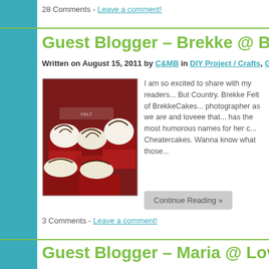28 Comments - Leave a comment!
Guest Blogger – Brekke @ Brek...
Written on August 15, 2011 by C&MB in DIY Project / Crafts, Gue...
[Figure (photo): Red velvet cupcakes with white cream frosting and chocolate drizzle decoration]
I am so excited to share with my readers... But Country. Brekke Felt of BrekkeCakes... photographer as we are and loveee that... has the most humorous names for her c... Cheatercakes. Wanna know what those...
Continue Reading »
3 Comments - Leave a comment!
Guest Blogger – Maria @ Love ...